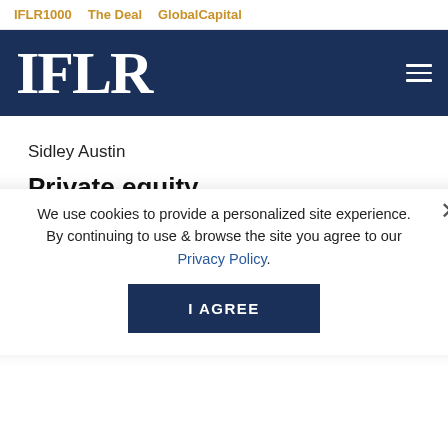IFLR1000   The Deal   GlobalCapital
IFLR
Sidley Austin
Private equity
Advent International / Walmart Brazil
Mattos Filho Veiga Filho ... Quiroga Advogados
Ropes & Gray
Salani & Saglietti
We use cookies to provide a personalized site experience. By continuing to use & browse the site you agree to our Privacy Policy.